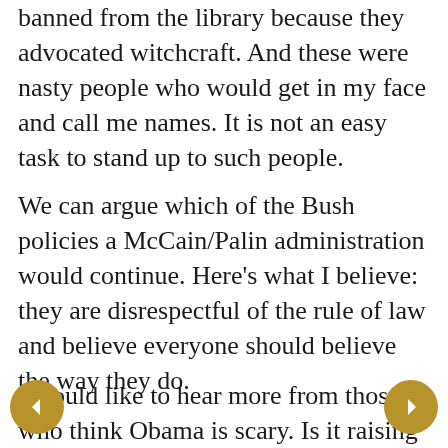banned from the library because they advocated witchcraft. And these were nasty people who would get in my face and call me names. It is not an easy task to stand up to such people.
We can argue which of the Bush policies a McCain/Palin administration would continue. Here's what I believe: they are disrespectful of the rule of law and believe everyone should believe the way they do.
I would like to hear more from those who think Obama is scary. Is it raising